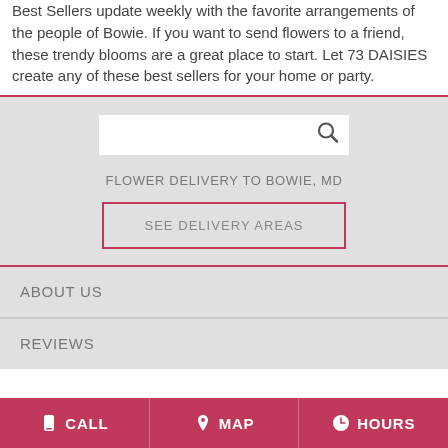Best Sellers update weekly with the favorite arrangements of the people of Bowie. If you want to send flowers to a friend, these trendy blooms are a great place to start. Let 73 DAISIES create any of these best sellers for your home or party.
[Figure (screenshot): Search box with magnifying glass icon on grey background]
FLOWER DELIVERY TO BOWIE, MD
SEE DELIVERY AREAS
ABOUT US
REVIEWS
CALL   MAP   HOURS